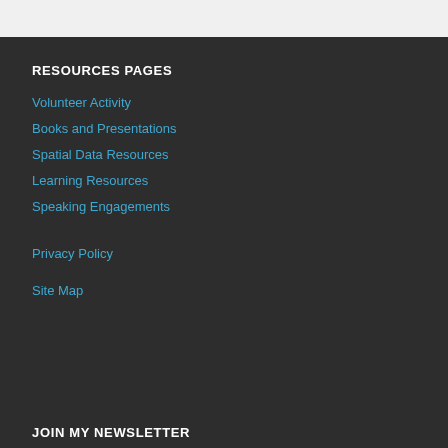RESOURCES PAGES
Volunteer Activity
Books and Presentations
Spatial Data Resources
Learning Resources
Speaking Engagements
Privacy Policy
Site Map
JOIN MY NEWSLETTER